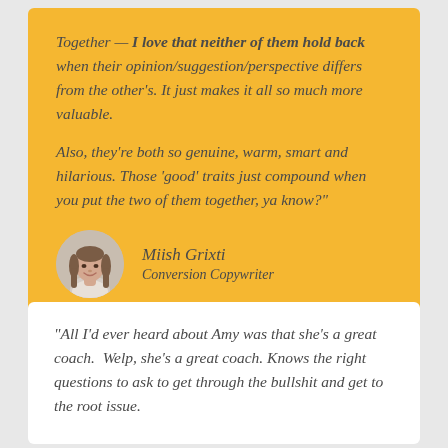Together — I love that neither of them hold back when their opinion/suggestion/perspective differs from the other's. It just makes it all so much more valuable.

Also, they're both so genuine, warm, smart and hilarious. Those 'good' traits just compound when you put the two of them together, ya know?"
[Figure (photo): Circular portrait photo of Miish Grixti, a woman with long brown hair, smiling]
Miish Grixti
Conversion Copywriter
“All I’d ever heard about Amy was that she’s a great coach. Welp, she’s a great coach. Knows the right questions to ask to get through the bullshit and get to the root issue.